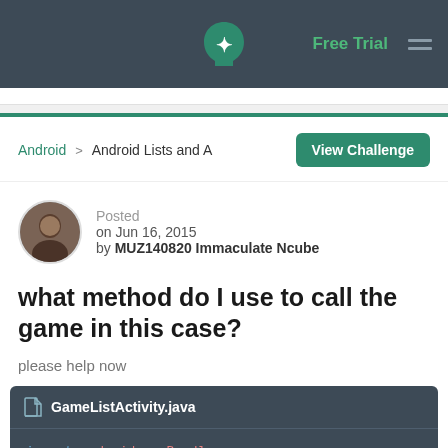Free Trial
Android > Android Lists and A
View Challenge
Posted on Jun 16, 2015 by MUZ140820 Immaculate Ncube
what method do I use to call the game in this case?
please help now
[Figure (screenshot): Code block showing GameListActivity.java with import android.os.Bundle; and import android.view.View; in syntax highlighted code editor]